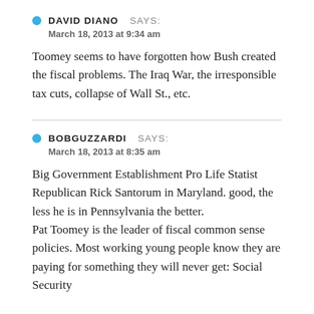DAVID DIANO   SAYS:
March 18, 2013 at 9:34 am
Toomey seems to have forgotten how Bush created the fiscal problems. The Iraq War, the irresponsible tax cuts, collapse of Wall St., etc.
BOBGUZZARDI   SAYS:
March 18, 2013 at 8:35 am
Big Government Establishment Pro Life Statist Republican Rick Santorum in Maryland. good, the less he is in Pennsylvania the better.
Pat Toomey is the leader of fiscal common sense policies. Most working young people know they are paying for something they will never get: Social Security